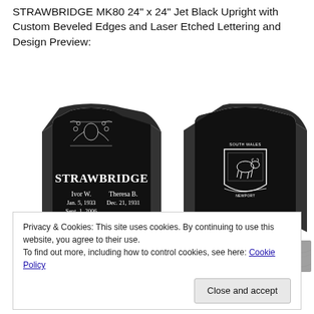STRAWBRIDGE MK80 24" x 24" Jet Black Upright with Custom Beveled Edges and Laser Etched Lettering and Design Preview:
[Figure (photo): Two views of a black granite upright memorial headstone with beveled edges. Left view shows front face with 'STRAWBRIDGE' engraved, names 'Ivor W.' and 'Theresa B.' with dates, and a decorative floral/bird laser etched design at top. Right view shows back face with a South Wales coat of arms/shield medallion. Both sit on a grey marble-look base.]
Privacy & Cookies: This site uses cookies. By continuing to use this website, you agree to their use.
To find out more, including how to control cookies, see here: Cookie Policy